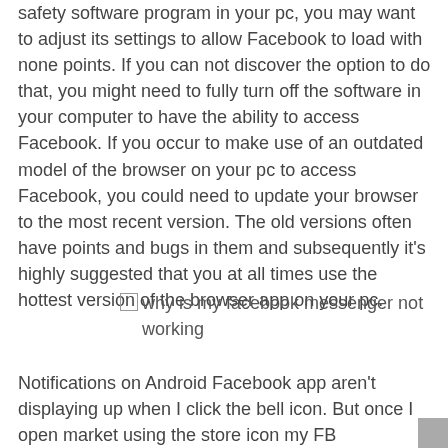safety software program in your pc, you may want to adjust its settings to allow Facebook to load with none points. If you can not discover the option to do that, you might need to fully turn off the software in your computer to have the ability to access Facebook. If you occur to make use of an outdated model of the browser on your pc to access Facebook, you could need to update your browser to the most recent version. The old versions often have points and bugs in them and subsequently it's highly suggested that you at all times use the hottest version of the browser app on your pc.
why is my facebook messenger not working
Notifications on Android Facebook app aren't displaying up when I click the bell icon. But once I open market using the store icon my FB notifications present up there. But if I click on the notifications underneath market it simply opens random market listings.